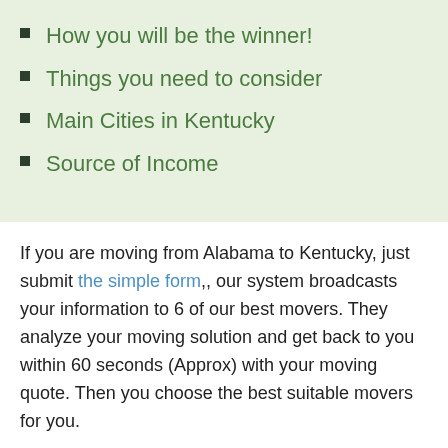How you will be the winner!
Things you need to consider
Main Cities in Kentucky
Source of Income
If you are moving from Alabama to Kentucky, just submit the simple form,, our system broadcasts your information to 6 of our best movers. They analyze your moving solution and get back to you within 60 seconds (Approx) with your moving quote. Then you choose the best suitable movers for you.
How you will be the winner!
Buzzmoving has the largest network of Insured, Licensed, and experienced movers Nationwide. You are just one